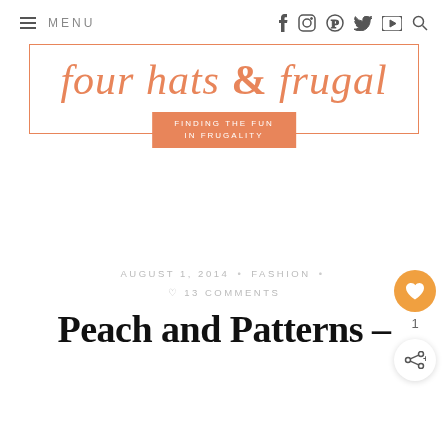≡ MENU  f  instagram  pinterest  twitter  youtube  search
[Figure (logo): four hats & frugal logo with orange serif italic text in a rectangular border and tagline badge 'FINDING THE FUN IN FRUGALITY']
AUGUST 1, 2014 • FASHION • ♡ 13 COMMENTS
Peach and Patterns –